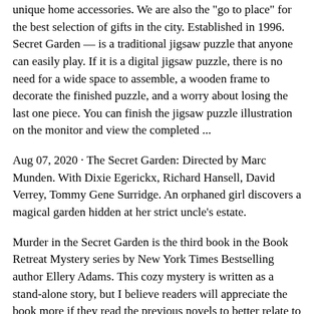unique home accessories. We are also the "go to place" for the best selection of gifts in the city. Established in 1996. Secret Garden — is a traditional jigsaw puzzle that anyone can easily play. If it is a digital jigsaw puzzle, there is no need for a wide space to assemble, a wooden frame to decorate the finished puzzle, and a worry about losing the last one piece. You can finish the jigsaw puzzle illustration on the monitor and view the completed ...
Aug 07, 2020 · The Secret Garden: Directed by Marc Munden. With Dixie Egerickx, Richard Hansell, David Verrey, Tommy Gene Surridge. An orphaned girl discovers a magical garden hidden at her strict uncle's estate.
Murder in the Secret Garden is the third book in the Book Retreat Mystery series by New York Times Bestselling author Ellery Adams. This cozy mystery is written as a stand-alone story, but I believe readers will appreciate the book more if they read the previous novels to better relate to the characters and their roles. That stated, this story ...Welcome to the mystery garden! If you enjoy playing hidden object mystery games, you're at the right place! Item searching games are good for your concentration, focus, and your ability to notice details! Find objects in the pictures of the mysterious garden and solve the mystery case! Go on a real… $25.00 Live Shishito Sweet Pepper 2 Ft tall Plant in 4" Pot – Flowering and with peppers- BEST SELLER – Last ones This product is out of stock. Product is not available in this quantity.